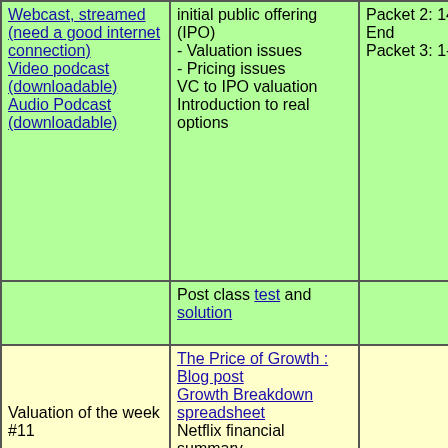| Webcast, streamed (need a good internet connection)
Video podcast (downloadable)
Audio Podcast (downloadable) | initial public offering (IPO)
- Valuation issues
- Pricing issues
VC to IPO valuation
Introduction to real options

Post class test and solution | Packet 2: 141-End
Packet 3: 1- 13 |
| Valuation of the week #11 | The Price of Growth : Blog post
Growth Breakdown spreadsheet
Netflix financial summary
A growth breakdown of Netflix |  |